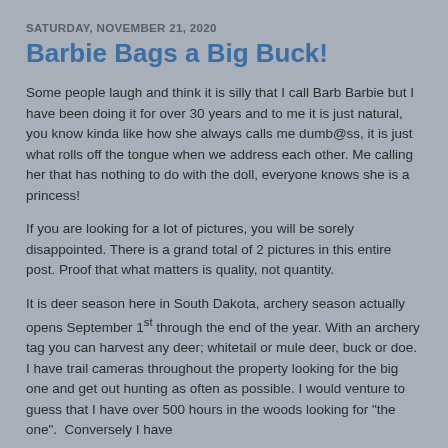SATURDAY, NOVEMBER 21, 2020
Barbie Bags a Big Buck!
Some people laugh and think it is silly that I call Barb Barbie but I have been doing it for over 30 years and to me it is just natural, you know kinda like how she always calls me dumb@ss, it is just what rolls off the tongue when we address each other. Me calling her that has nothing to do with the doll, everyone knows she is a princess!
If you are looking for a lot of pictures, you will be sorely disappointed. There is a grand total of 2 pictures in this entire post. Proof that what matters is quality, not quantity.
It is deer season here in South Dakota, archery season actually opens September 1st through the end of the year. With an archery tag you can harvest any deer; whitetail or mule deer, buck or doe. I have trail cameras throughout the property looking for the big one and get out hunting as often as possible. I would venture to guess that I have over 500 hours in the woods looking for "the one".  Conversely I have